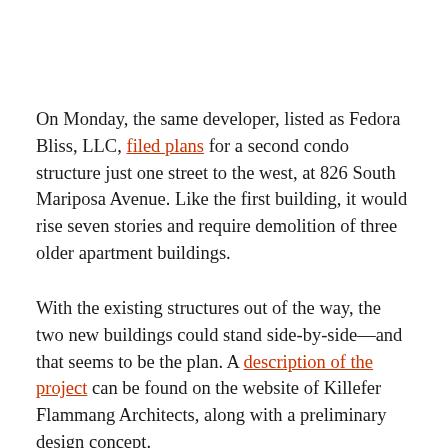On Monday, the same developer, listed as Fedora Bliss, LLC, filed plans for a second condo structure just one street to the west, at 826 South Mariposa Avenue. Like the first building, it would rise seven stories and require demolition of three older apartment buildings.
With the existing structures out of the way, the two new buildings could stand side-by-side—and that seems to be the plan. A description of the project can be found on the website of Killefer Flammang Architects, along with a preliminary design concept.
According to the project description, the buildings would